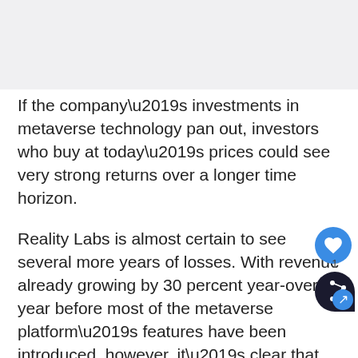[Figure (photo): Image placeholder at top of page, light gray background]
If the company’s investments in metaverse technology pan out, investors who buy at today’s prices could see very strong returns over a longer time horizon.
Reality Labs is almost certain to see several more years of losses. With revenue already growing by 30 percent year-over-year before most of the metaverse platform’s features have been introduced, however, it’s clear that there’s a great deal of potential for future growth in this business segment.
For growth-oriented investors looking at the long run, Meta looks to be a good buy right now. The company’s underpinnings in strong